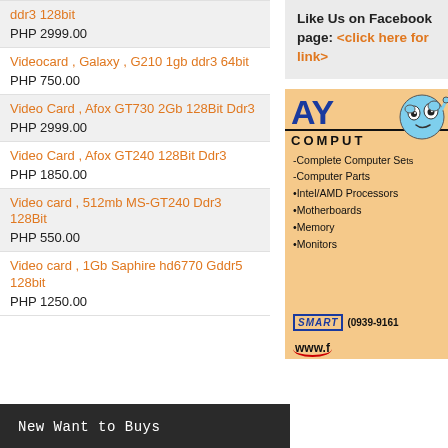ddr3 128bit
PHP 2999.00
Videocard , Galaxy , G210 1gb ddr3 64bit
PHP 750.00
Video Card , Afox GT730 2Gb 128Bit Ddr3
PHP 2999.00
Video Card , Afox GT240 128Bit Ddr3
PHP 1850.00
Video card , 512mb MS-GT240 Ddr3 128Bit
PHP 550.00
Video card , 1Gb Saphire hd6770 Gddr5 128bit
PHP 1250.00
New Want to Buys
Like Us on Facebook page: <click here for link>
[Figure (illustration): AYO Computer store advertisement with logo, mascot, services list (Complete Computer Sets, Computer Parts, Intel/AMD Processors, Motherboards, Memory, Monitors), Smart contact number (0939-9161...), and website URL www.f...]